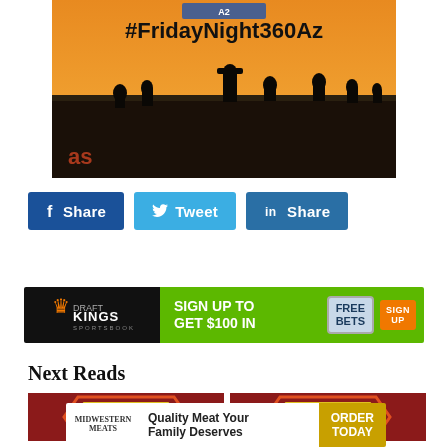[Figure (photo): Silhouettes of people standing at a baseball/sports stadium fence against an orange sunset sky, with text #FridayNight360Az overlaid, and 'as' watermark in bottom left]
[Figure (infographic): Social sharing buttons: Facebook Share (dark blue), Twitter Tweet (light blue), LinkedIn Share (dark blue)]
[Figure (infographic): DraftKings Sportsbook advertisement: Sign Up To Get $100 In Free Bets - Sign Up button]
Next Reads
[Figure (photo): Left thumbnail image with red/blue badge design for Next Reads article]
[Figure (photo): Right thumbnail image with red/blue badge design for Next Reads article]
[Figure (infographic): Midwestern Meats advertisement: Quality Meat Your Family Deserves - Order Today]